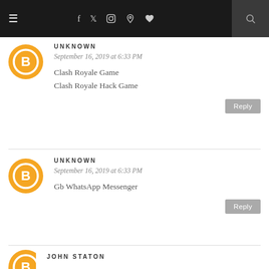Navigation bar with hamburger menu, social icons, and search
UNKNOWN
September 16, 2019 at 6:33 PM
Clash Royale Game
Clash Royale Hack Game
UNKNOWN
September 16, 2019 at 6:33 PM
Gb WhatsApp Messenger
JOHN STATON